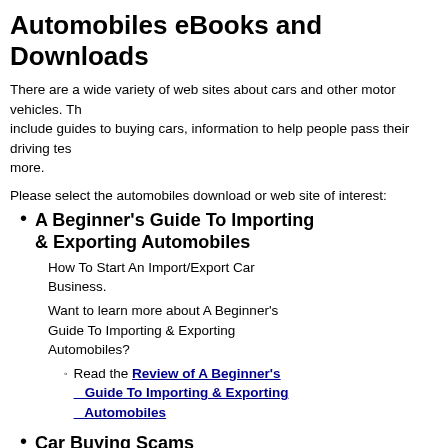Automobiles eBooks and Downloads
There are a wide variety of web sites about cars and other motor vehicles. These include guides to buying cars, information to help people pass their driving tests, and more.
Please select the automobiles download or web site of interest:
A Beginner's Guide To Importing & Exporting Automobiles
How To Start An Import/Export Car Business.
Want to learn more about A Beginner's Guide To Importing & Exporting Automobiles?
Read the Review of A Beginner's Guide To Importing & Exporting Automobiles
Car Buying Scams
Never Get Ripped Off Again Buying A Car!
Want to learn more about Car Buying Scams?